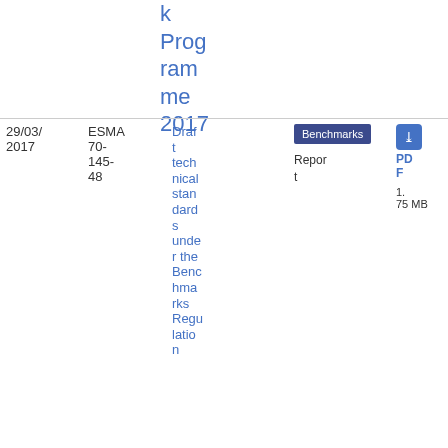k Programme 2017
| Date | Reference | Title | Tag | Type | Download |
| --- | --- | --- | --- | --- | --- |
| 29/03/2017 | ESMA 70-145-48 | Draft technical standards under the Benchmarks Regulation | Benchmarks | Report | PDF 1.75 MB |